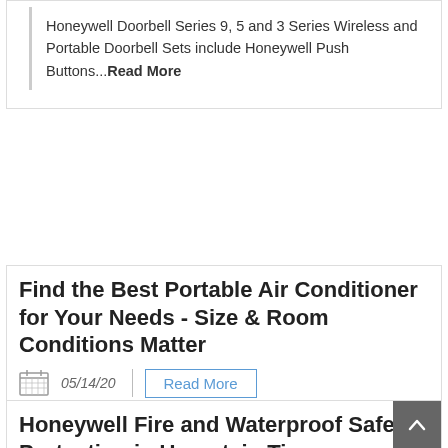Honeywell Doorbell Series 9, 5 and 3 Series Wireless and Portable Doorbell Sets include Honeywell Push Buttons...Read More
Find the Best Portable Air Conditioner for Your Needs - Size & Room Conditions Matter
05/14/20
Read More
Finding the correct Honeywell Portable Air Conditioner to suit your room size needs. ...Read More
Honeywell Fire and Waterproof Safes: Protection in Uncertain Times